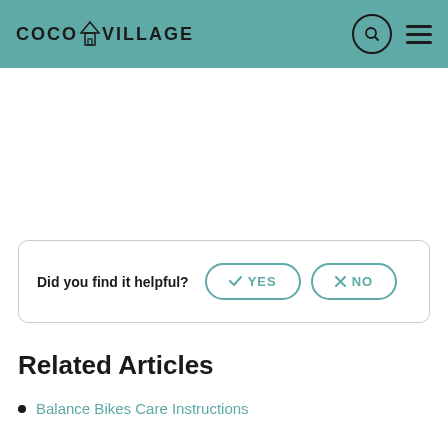COCO VILLAGE
Did you find it helpful? YES NO
Related Articles
Balance Bikes Care Instructions